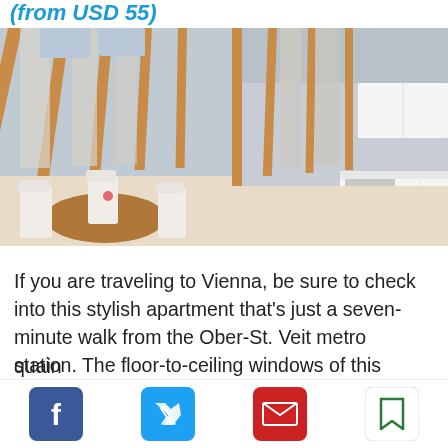(from USD 55)
[Figure (photo): Interior of a modern rooftop apartment in Vienna with floor-to-ceiling wooden-framed windows, a dining table with white chairs on the left, and a white kitchen with coffee table on the right.]
If you are traveling to Vienna, be sure to check into this stylish apartment that’s just a seven-minute walk from the Ober-St. Veit metro station. The floor-to-ceiling windows of this rooftop apartment make the space bright and airy. This awesome spot is nestled in a quain